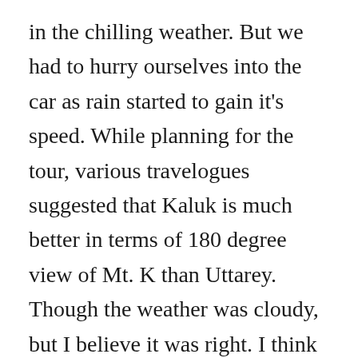in the chilling weather. But we had to hurry ourselves into the car as rain started to gain it's speed. While planning for the tour, various travelogues suggested that Kaluk is much better in terms of 180 degree view of Mt. K than Uttarey. Though the weather was cloudy, but I believe it was right. I think someone who stayed at Uttarey would be able to comment on it properly.